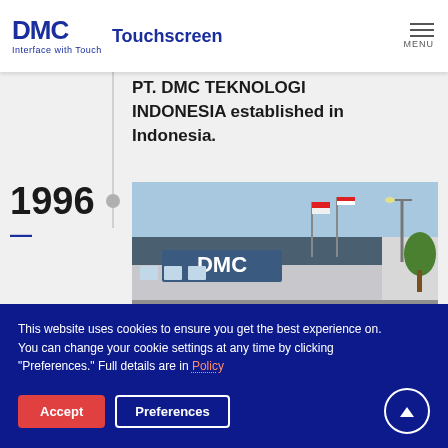DMC Touchscreen — Interface with Touch
PT. DMC TEKNOLOGI INDONESIA established in Indonesia.
[Figure (photo): Exterior photo of PT. DMC TEKNOLOGI INDONESIA building with DMC signage and flags]
1996
This website uses cookies to ensure you get the best experience on. You can change your cookie settings at any time by clicking "Preferences." Full details are in Policy